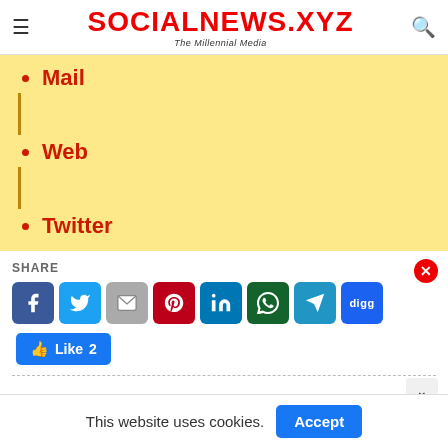SOCIALNEWS.XYZ — The Millennial Media
Mail
Web
Twitter
SHARE
[Figure (screenshot): Social share buttons: Facebook, Twitter, Gmail, Pinterest, LinkedIn, WhatsApp, Telegram, Digg, and a Like 2 button]
This website uses cookies.  Accept